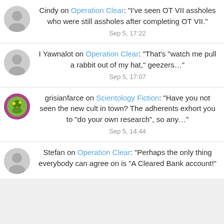Cindy on Operation Clear: "I've seen OT VII assholes who were still assholes after completing OT VII." Sep 5, 17:22
I Yawnalot on Operation Clear: "That's "watch me pull a rabbit out of my hat," geezers..." Sep 5, 17:07
grisianfarce on Scientology Fiction: "Have you not seen the new cult in town? The adherents exhort you to "do your own research", so any..." Sep 5, 14:44
Stefan on Operation Clear: "Perhaps the only thing everybody can agree on is "A Cleared Bank account!"